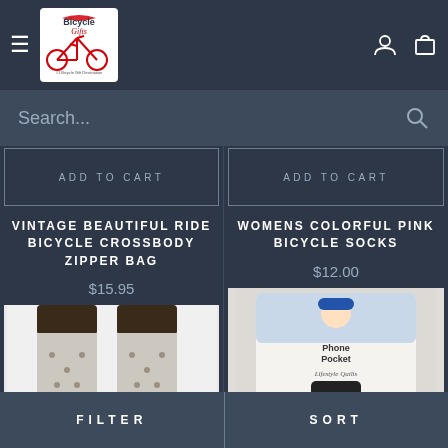[Figure (logo): Bicycle Gifts logo with red ribbon and text]
Search...
ADD TO CART
ADD TO CART
VINTAGE BEAUTIFUL RIDE BICYCLE CROSSBODY ZIPPER BAG
$15.95
WOMENS COLORFUL PINK BICYCLE SOCKS
$12.00
[Figure (photo): Two socks with bicycle pattern and orange toes on white background]
[Figure (photo): Phone pocket product with Lifestyle Quotes branding showing pink bicycle]
FILTER   SORT